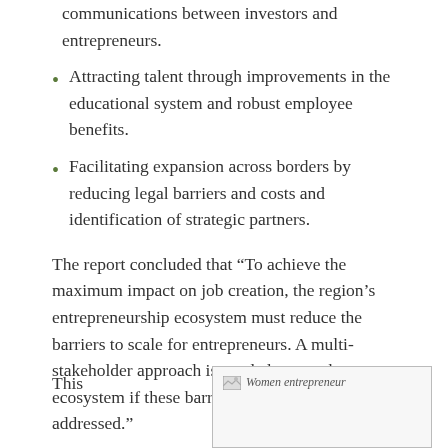communications between investors and entrepreneurs.
Attracting talent through improvements in the educational system and robust employee benefits.
Facilitating expansion across borders by reducing legal barriers and costs and identification of strategic partners.
The report concluded that “To achieve the maximum impact on job creation, the region’s entrepreneurship ecosystem must reduce the barriers to scale for entrepreneurs. A multi-stakeholder approach is needed across the ecosystem if these barriers are to be effectively addressed.”
This
[Figure (photo): Image placeholder labeled 'Women entrepreneur']